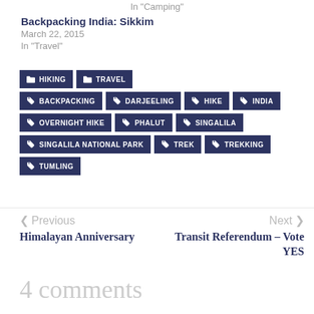In "Camping"
Backpacking India: Sikkim
March 22, 2015
In "Travel"
HIKING
TRAVEL
BACKPACKING
DARJEELING
HIKE
INDIA
OVERNIGHT HIKE
PHALUT
SINGALILA
SINGALILA NATIONAL PARK
TREK
TREKKING
TUMLING
< Previous
Himalayan Anniversary
Next >
Transit Referendum – Vote YES
4 comments